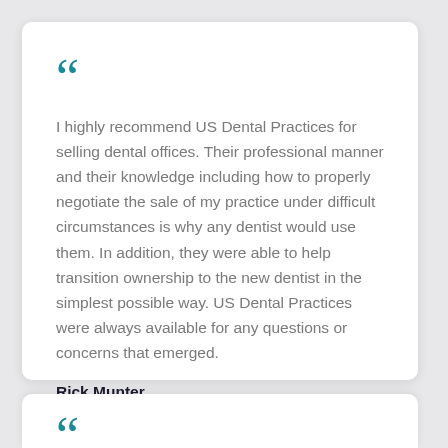I highly recommend US Dental Practices for selling dental offices. Their professional manner and their knowledge including how to properly negotiate the sale of my practice under difficult circumstances is why any dentist would use them. In addition, they were able to help transition ownership to the new dentist in the simplest possible way. US Dental Practices were always available for any questions or concerns that emerged.
Rick Munter